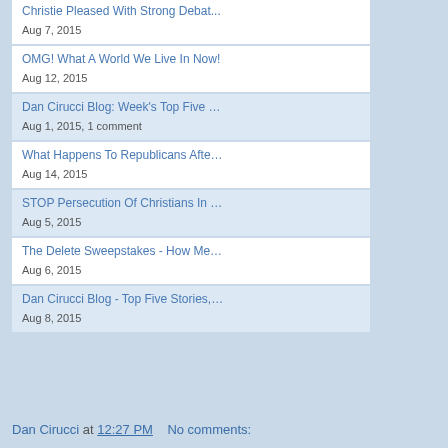Christie Pleased With Strong Debat...
Aug 7, 2015
OMG! What A World We Live In Now!
Aug 12, 2015
Dan Cirucci Blog: Week's Top Five …
Aug 1, 2015, 1 comment
What Happens To Republicans Afte…
Aug 14, 2015
STOP Persecution Of Christians In …
Aug 5, 2015
The Delete Sweepstakes - How Me…
Aug 6, 2015
Dan Cirucci Blog - Top Five Stories,…
Aug 8, 2015
Dan Cirucci at 12:27 PM   No comments: